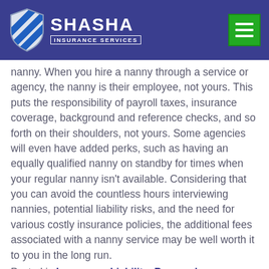SHASHA INSURANCE SERVICES
nanny. When you hire a nanny through a service or agency, the nanny is their employee, not yours. This puts the responsibility of payroll taxes, insurance coverage, background and reference checks, and so forth on their shoulders, not yours. Some agencies will even have added perks, such as having an equally qualified nanny on standby for times when your regular nanny isn't available. Considering that you can avoid the countless hours interviewing nannies, potential liability risks, and the need for various costly insurance policies, the additional fees associated with a nanny service may be well worth it to you in the long run.
Posted in Insurance, Liability, Personal